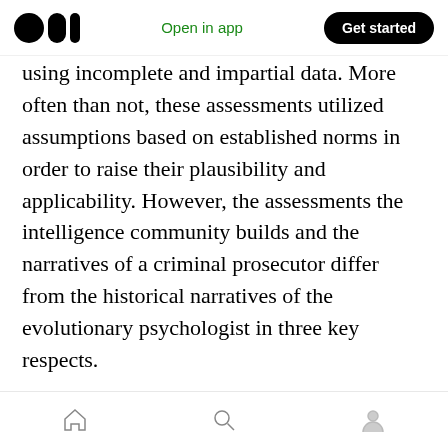Medium app navigation bar with logo, 'Open in app', and 'Get started' button
using incomplete and impartial data. More often than not, these assessments utilized assumptions based on established norms in order to raise their plausibility and applicability. However, the assessments the intelligence community builds and the narratives of a criminal prosecutor differ from the historical narratives of the evolutionary psychologist in three key respects.
The first is something I have already mentioned — we do not have any robust historical records of the circumstances surrounding religious belief formation. We have a rough idea that primitive
Bottom navigation bar with home, search, and profile icons